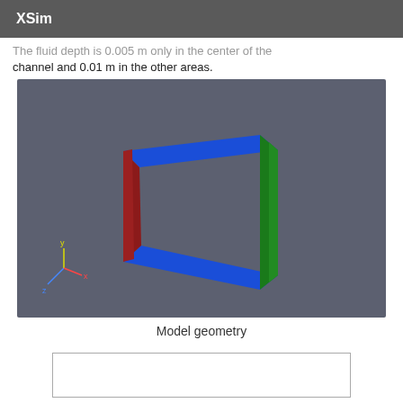XSim
The fluid depth is 0.005 m only in the center of the channel and 0.01 m in the other areas.
[Figure (engineering-diagram): 3D model geometry showing a rectangular channel frame with colored sides: blue top and bottom bars, red left bar, green right bar, on a dark gray background. A coordinate axis (x, y, z) indicator appears in the lower left corner.]
Model geometry